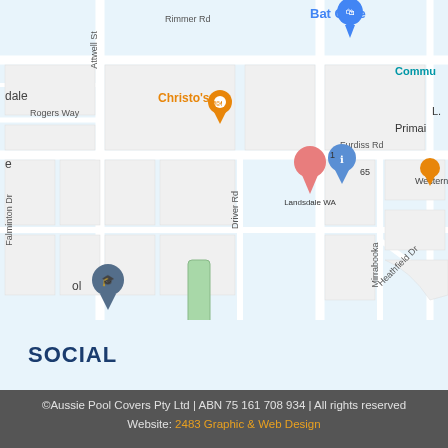[Figure (map): Google Maps screenshot showing Landsdale WA area with street names including Rimmer Rd, Attwell St, Rogers Way, Driver Rd, Mirrabooka Ave, Heathfield Dr, Falminton Dr. Landmarks include Bat Cave, Christo's, Happy Joint Lunch Bar, Western Glass Pty, a primary school marker, and a location pin at 1 Furdiss Rd, Landsdale WA 6065.]
SOCIAL
©Aussie Pool Covers Pty Ltd | ABN 75 161 708 934 | All rights reserved
Website: 2483 Graphic & Web Design